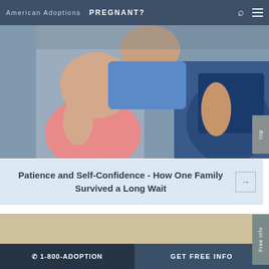American Adoptions   PREGNANT?
[Figure (photo): Partial view of children sitting, one in pink and one in blue clothing, upper torso and laps visible]
Patience and Self-Confidence - How One Family Survived a Long Wait
[Figure (photo): Family portrait of a woman in pink top, a toddler boy in blue shirt, a man in plaid shirt, and a newborn baby wrapped in white]
☎ 1-800-ADOPTION   GET FREE INFO